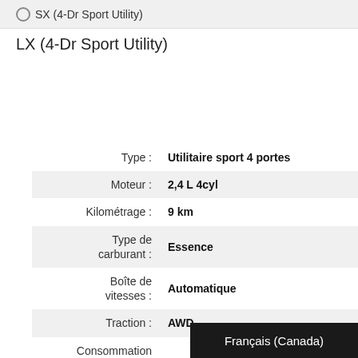SX (4-Dr Sport Utility)
LX (4-Dr Sport Utility)
| Label | Value |
| --- | --- |
| Type : | Utilitaire sport 4 portes |
| Moteur : | 2,4 L 4cyl |
| Kilométrage : | 9 km |
| Type de carburant : | Essence |
| Boîte de vitesses : | Automatique |
| Traction : | AWD |
| Consommation de carburant (Autoroute) : | 9,1 L / 100 km |
| Consommation de carburant (Ville) : | 10,8 L / 100 km |
Français (Canada)